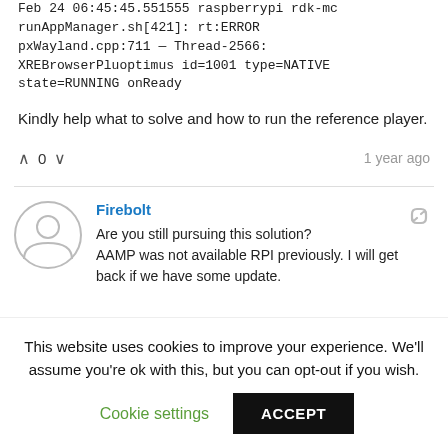Feb 24 06:45:45.551555 raspberrypi rdk-mc runAppManager.sh[421]: rt:ERROR pxWayland.cpp:711 — Thread-2566: XREBrowserPluoptimus id=1001 type=NATIVE state=RUNNING onReady
Kindly help what to solve and how to run the reference player.
^ 0 v   1 year ago
Firebolt
Are you still pursuing this solution?
AAMP was not available RPI previously. I will get back if we have some update.
This website uses cookies to improve your experience. We'll assume you're ok with this, but you can opt-out if you wish.
Cookie settings  ACCEPT